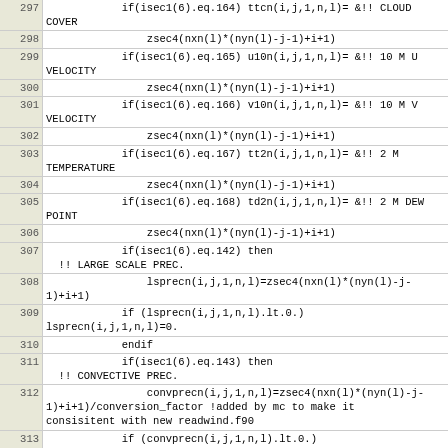| Line | Code |
| --- | --- |
| 297 |             if(isec1(6).eq.164) ttcn(i,j,1,n,l)= &!! CLOUD
COVER |
| 298 |                 zsec4(nxn(l)*(nyn(l)-j-1)+i+1) |
| 299 |             if(isec1(6).eq.165) u10n(i,j,1,n,l)= &!! 10 M U
VELOCITY |
| 300 |                 zsec4(nxn(l)*(nyn(l)-j-1)+i+1) |
| 301 |             if(isec1(6).eq.166) v10n(i,j,1,n,l)= &!! 10 M V
VELOCITY |
| 302 |                 zsec4(nxn(l)*(nyn(l)-j-1)+i+1) |
| 303 |             if(isec1(6).eq.167) tt2n(i,j,1,n,l)= &!! 2 M
TEMPERATURE |
| 304 |                 zsec4(nxn(l)*(nyn(l)-j-1)+i+1) |
| 305 |             if(isec1(6).eq.168) td2n(i,j,1,n,l)= &!! 2 M DEW
POINT |
| 306 |                 zsec4(nxn(l)*(nyn(l)-j-1)+i+1) |
| 307 |             if(isec1(6).eq.142) then
  !! LARGE SCALE PREC. |
| 308 |                 lsprecn(i,j,1,n,l)=zsec4(nxn(l)*(nyn(l)-j-
1)+i+1) |
| 309 |             if (lsprecn(i,j,1,n,l).lt.0.)
lsprecn(i,j,1,n,l)=0. |
| 310 |             endif |
| 311 |             if(isec1(6).eq.143) then
  !! CONVECTIVE PREC. |
| 312 |                 convprecn(i,j,1,n,l)=zsec4(nxn(l)*(nyn(l)-j-
1)+i+1)/conversion_factor !added by mc to make it
consisitent with new readwind.f90 |
| 313 |             if (convprecn(i,j,1,n,l).lt.0.)
convprecn(i,j,1,n,l)=0. |
| 314 |             endif |
| 315 |             if(isec1(6).eq.146) sshfn(i,j,1,n,l)= &!! SENS.
HEAT FLUX |
| 316 |                 zsec4(nxn(l)*(nyn(l)-j-1)+i+1) |
| 317 |             if((isec1(6).eq.146).and. & |
| 318 | ... |